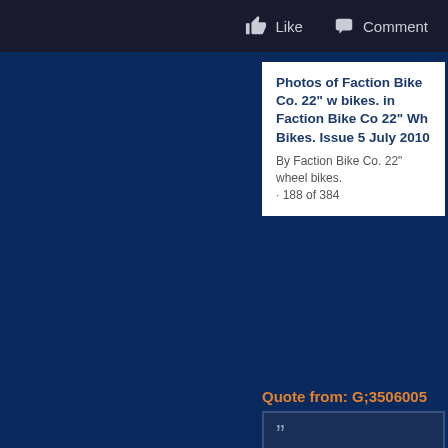Like   Comment
Photos of Faction Bike Co. 22" w bikes. in Faction Bike Co 22" Wh Bikes. Issue 5 July 2010
By Faction Bike Co. 22" wheel bikes.
· 188 of 384
Quote from: G;3506005
Stuff like this needs to be top down. Top riders try it and like it, so it trickles down and THEN you get cheap bikes using it. This is what 29" has done. Hard to see how it could work the other way. Local shredder sees beginner kid with